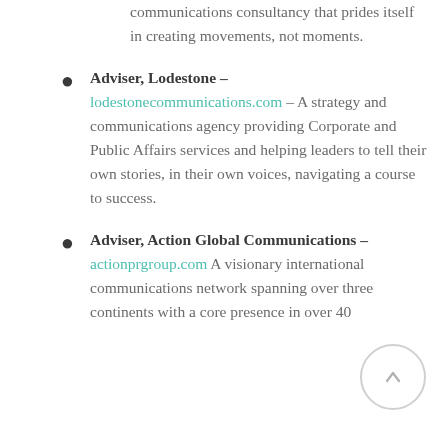communications consultancy that prides itself in creating movements, not moments.
Adviser, Lodestone – lodestonecommunications.com – A strategy and communications agency providing Corporate and Public Affairs services and helping leaders to tell their own stories, in their own voices, navigating a course to success.
Adviser, Action Global Communications – actionprgroup.com A visionary international communications network spanning over three continents with a core presence in over 40